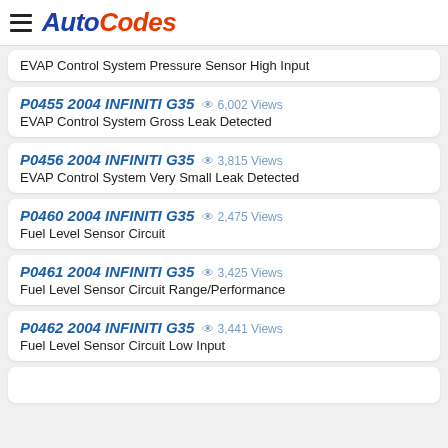AutoCodes
EVAP Control System Pressure Sensor High Input
P0455 2004 INFINITI G35 | 6,002 Views
EVAP Control System Gross Leak Detected
P0456 2004 INFINITI G35 | 3,815 Views
EVAP Control System Very Small Leak Detected
P0460 2004 INFINITI G35 | 2,475 Views
Fuel Level Sensor Circuit
P0461 2004 INFINITI G35 | 3,425 Views
Fuel Level Sensor Circuit Range/Performance
P0462 2004 INFINITI G35 | 3,441 Views
Fuel Level Sensor Circuit Low Input